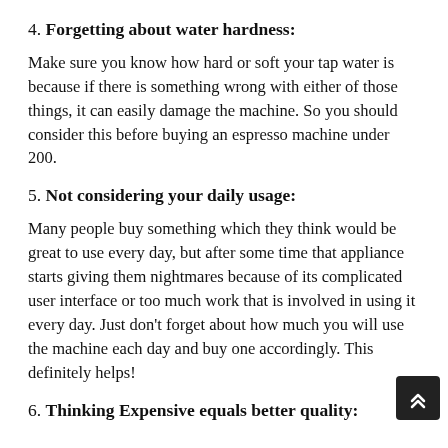4. Forgetting about water hardness:
Make sure you know how hard or soft your tap water is because if there is something wrong with either of those things, it can easily damage the machine. So you should consider this before buying an espresso machine under 200.
5. Not considering your daily usage:
Many people buy something which they think would be great to use every day, but after some time that appliance starts giving them nightmares because of its complicated user interface or too much work that is involved in using it every day. Just don't forget about how much you will use the machine each day and buy one accordingly. This definitely helps!
6. Thinking Expensive equals better quality: